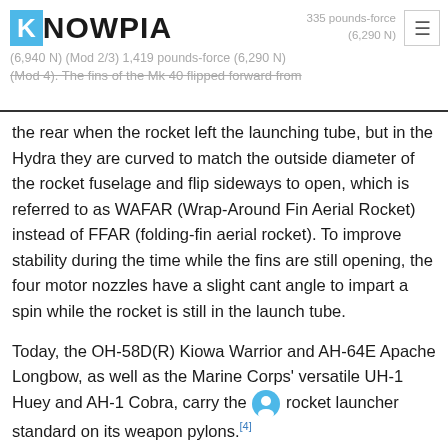KNOWPIA — 335 pounds-force (6,940 N) (Mod 2/3) 1,419 pounds-force (6,290 N) (Mod 4). The fins of the Mk 40 flipped forward from
the rear when the rocket left the launching tube, but in the Hydra they are curved to match the outside diameter of the rocket fuselage and flip sideways to open, which is referred to as WAFAR (Wrap-Around Fin Aerial Rocket) instead of FFAR (folding-fin aerial rocket). To improve stability during the time while the fins are still opening, the four motor nozzles have a slight cant angle to impart a spin while the rocket is still in the launch tube.
Today, the OH-58D(R) Kiowa Warrior and AH-64E Apache Longbow, as well as the Marine Corps' versatile UH-1 Huey and AH-1 Cobra, carry the [launcher] rocket launcher standard on its weapon pylons.[4]
Mk 66 rocket motor variants